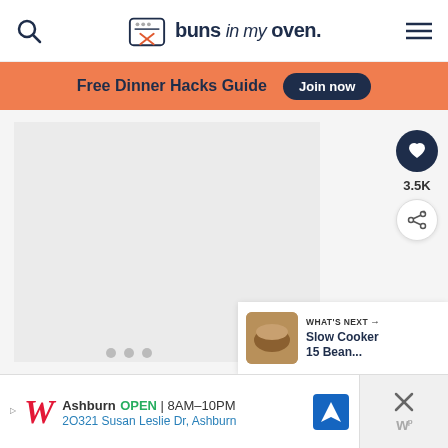buns in my oven.
Free Dinner Hacks Guide  Join now
[Figure (photo): Main content image placeholder with three dot indicators below]
3.5K
WHAT'S NEXT → Slow Cooker 15 Bean...
Ashburn  OPEN | 8AM–10PM  2O321 Susan Leslie Dr, Ashburn